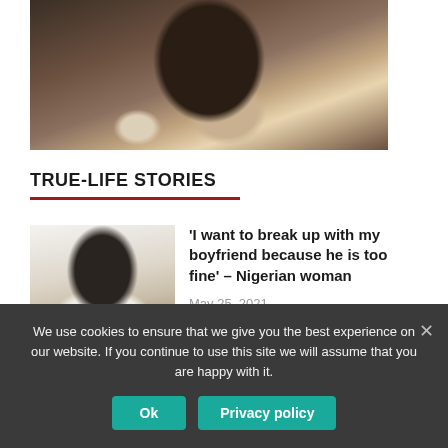[Figure (photo): A man reading a document, seen from the side, wearing a black shirt and smartwatch, with a blurred indoor background.]
TRUE-LIFE STORIES
[Figure (photo): Portrait of a young Black man with glasses and a beard, wearing a white shirt, on a light background.]
'I want to break up with my boyfriend because he is too fine' – Nigerian woman
May 25, 2021
We use cookies to ensure that we give you the best experience on our website. If you continue to use this site we will assume that you are happy with it.